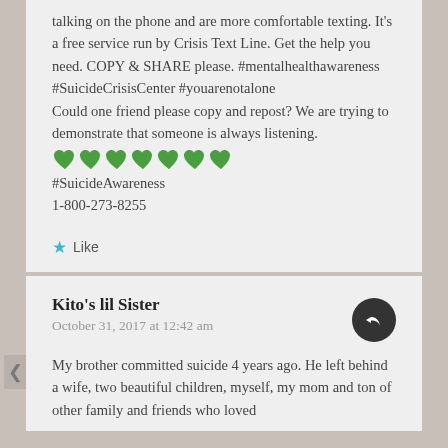talking on the phone and are more comfortable texting. It's a free service run by Crisis Text Line. Get the help you need. COPY & SHARE please. #mentalhealthawareness #SuicideCrisisCenter #youarenotalone
Could one friend please copy and repost? We are trying to demonstrate that someone is always listening.
💚💚💚💚💚💚💚
#SuicideAwareness
1-800-273-8255
Like
Kito's lil Sister
October 31, 2017 at 12:42 am
My brother committed suicide 4 years ago. He left behind a wife, two beautiful children, myself, my mom and ton of other family and friends who loved